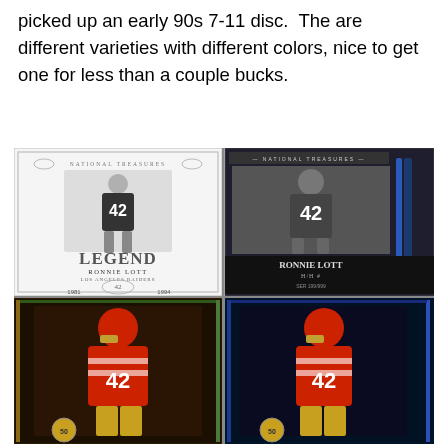picked up an early 90s 7-11 disc.  The are different varieties with different colors, nice to get one for less than a couple bucks.
[Figure (photo): Four sports trading cards featuring Ronnie Lott #42. Top left: National Treasures Legend Ronnie Lott card showing him in Raiders black uniform, black and white photo, labeled 1981-1994. Top right: National Treasures Ronnie Lott card in dark/gray style showing him in a football uniform, black and white, numbered edition. Bottom left: Color card showing Ronnie Lott in San Francisco 49ers red uniform #42, with green/gold border design. Bottom right: Similar color card of Ronnie Lott in 49ers red uniform #42, with blue border design.]